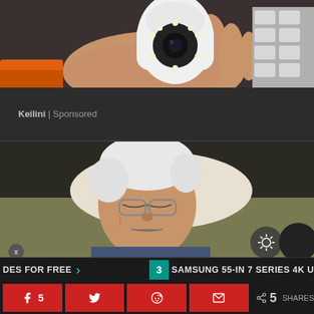[Figure (photo): A hand holding a small white security camera with ring LEDs around the lens, with more cameras visible in background.]
Keilini | Sponsored
[Figure (photo): An elderly man with white hair and glasses sleeping or resting in a chair.]
DES FOR FREE
3
SAMSUNG 55-IN 7 SERIES 4K U
5
SHARES